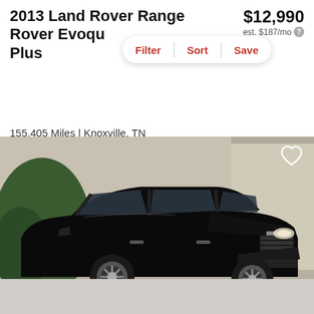2013 Land Rover Range Rover Evoque Plus
$12,990
est. $187/mo
Filter | Sort | Save
155,405 Miles | Knoxville, TN
Track Price   Check Availability
[Figure (photo): Black 2013 Land Rover Range Rover Evoque Plus SUV, three-quarter front view in a parking lot setting with trees and a building in the background.]